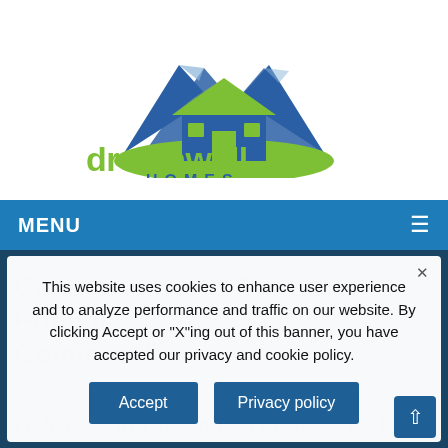[Figure (logo): Dreamwell Homes logo with house and mountains graphic in green and blue. Text: 'dreamwell HOMES www.dreamwellhomes.com']
MENU ≡
Category: North Chandler Phoenix Communities
OHCC Monthly Sales Updates by K...
This website uses cookies to enhance user experience and to analyze performance and traffic on our website. By clicking Accept or "X"ing out of this banner, you have accepted our privacy and cookie policy.